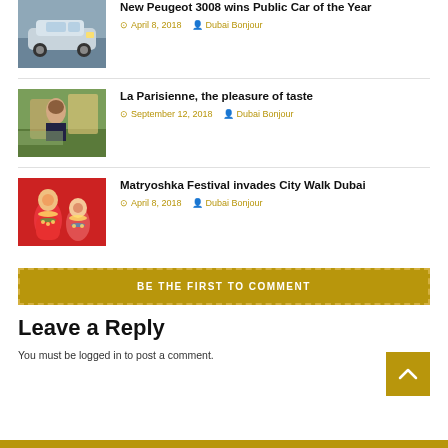New Peugeot 3008 wins Public Car of the Year | April 8, 2018 | Dubai Bonjour
La Parisienne, the pleasure of taste | September 12, 2018 | Dubai Bonjour
Matryoshka Festival invades City Walk Dubai | April 8, 2018 | Dubai Bonjour
BE THE FIRST TO COMMENT
Leave a Reply
You must be logged in to post a comment.